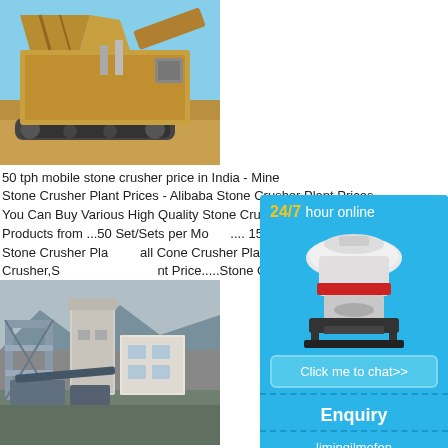[Figure (photo): Large mobile stone crusher machine on sandy terrain with blue sky background]
50 tph mobile stone crusher price in India - Mine
Stone Crusher Plant Prices - Alibaba Stone Crusher Plant Prices, You Can Buy Various High Quality Stone Crusher Plant Prices Products from ...50 Set/Sets per Mo... ... 150-180 TPH Marble Stone Crusher Pla... ...all Cone Crusher Plant,Mobile Cone Crusher,S... ...nt Price.....Stone Crusher Plant Price In India.
Read More
[Figure (photo): Industrial stone crusher plant facility with silos, buildings and processing equipment]
[Figure (illustration): Chat widget sidebar showing 24/7 hour online support, cone crusher image, Click me to chat button, Enquiry section, and limingjlmofen text]
24/7 hour online
Click me to chat>>
Enquiry
limingjlmofen